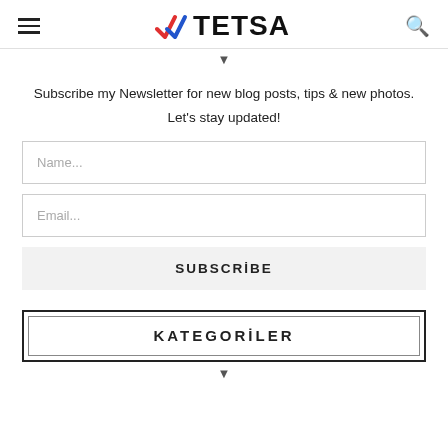TETSA
Subscribe my Newsletter for new blog posts, tips & new photos. Let's stay updated!
Name...
Email...
SUBSCRİBE
KATEGORİLER